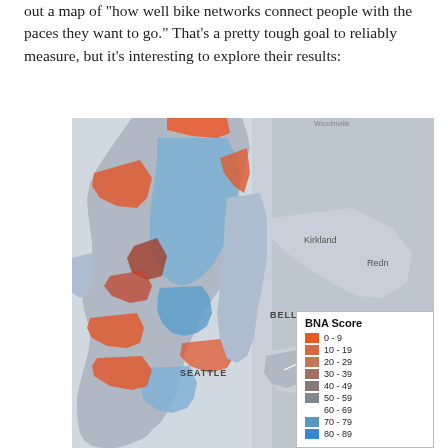out a map of "how well bike networks connect people with the paces they want to go." That's a pretty tough goal to reliably measure, but it's interesting to explore their results:
[Figure (map): A BNA (Bike Network Analysis) score map of the Seattle, Washington area showing bike network connectivity by census block group. Areas are colored from orange/red (low BNA scores 0-9) through brown/grey to blue (high BNA scores 70-89+). The map shows Seattle on the left, with Kirkland, Bellevue, Mercer Island, and Redmond labeled on the right side. A legend in the lower right shows BNA Score ranges from 0-9 (bright orange) through 80-89 (bright blue).]